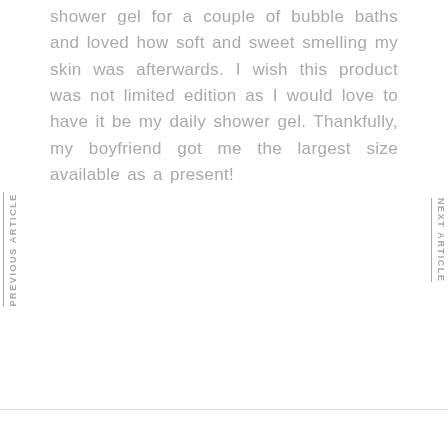shower gel for a couple of bubble baths and loved how soft and sweet smelling my skin was afterwards. I wish this product was not limited edition as I would love to have it be my daily shower gel. Thankfully, my boyfriend got me the largest size available as a present!
PREVIOUS ARTICLE
NEXT ARTICLE